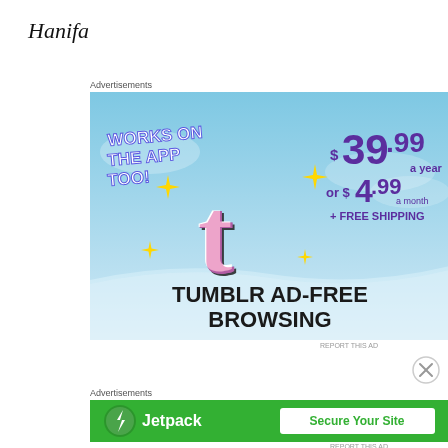Hanifa
Advertisements
[Figure (screenshot): Tumblr ad-free browsing advertisement banner. Shows a Tumblr logo with sparkles, text 'WORKS ON THE APP TOO!' on blue sky background. Pricing: $39.99 a year or $4.99 a month + FREE SHIPPING. Bottom text: TUMBLR AD-FREE BROWSING]
Advertisements
[Figure (screenshot): Jetpack advertisement banner on green background. Shows Jetpack logo (lightning bolt in circle) and text 'Jetpack' with a white button 'Secure Your Site']